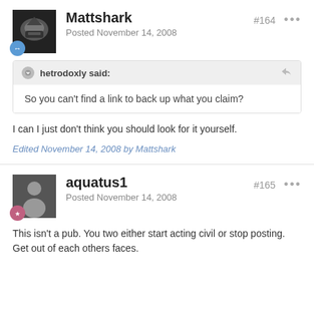Mattshark — Posted November 14, 2008 — #164
hetrodoxly said: So you can't find a link to back up what you claim?
I can I just don't think you should look for it yourself.
Edited November 14, 2008 by Mattshark
aquatus1 — Posted November 14, 2008 — #165
This isn't a pub. You two either start acting civil or stop posting. Get out of each others faces.